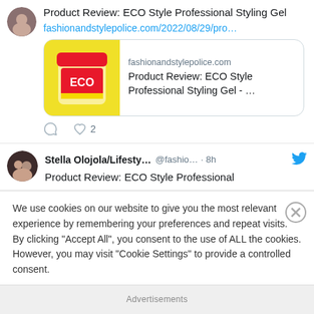[Figure (photo): Tweet card showing avatar photo of person, tweet text 'Product Review: ECO Style Professional Styling Gel', a link 'fashionandstylepolice.com/2022/08/29/pro...', and a link preview card with ECO Styling Gel product image]
[Figure (photo): Second tweet card showing Stella Olojola/Lifestyle avatar, username @fashio..., 8h ago, tweet text 'Product Review: ECO Style Professional', with Twitter bird logo]
We use cookies on our website to give you the most relevant experience by remembering your preferences and repeat visits. By clicking “Accept All”, you consent to the use of ALL the cookies. However, you may visit "Cookie Settings" to provide a controlled consent.
Advertisements